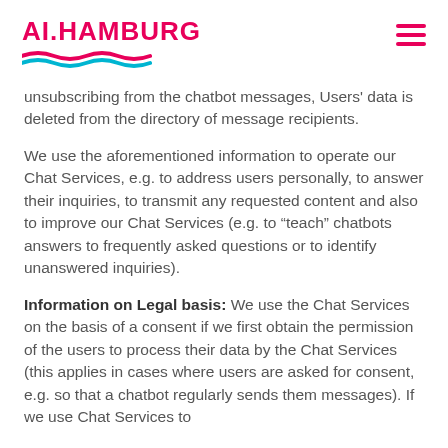AI.HAMBURG
unsubscribing from the chatbot messages, Users' data is deleted from the directory of message recipients.
We use the aforementioned information to operate our Chat Services, e.g. to address users personally, to answer their inquiries, to transmit any requested content and also to improve our Chat Services (e.g. to “teach” chatbots answers to frequently asked questions or to identify unanswered inquiries).
Information on Legal basis: We use the Chat Services on the basis of a consent if we first obtain the permission of the users to process their data by the Chat Services (this applies in cases where users are asked for consent, e.g. so that a chatbot regularly sends them messages). If we use Chat Services to